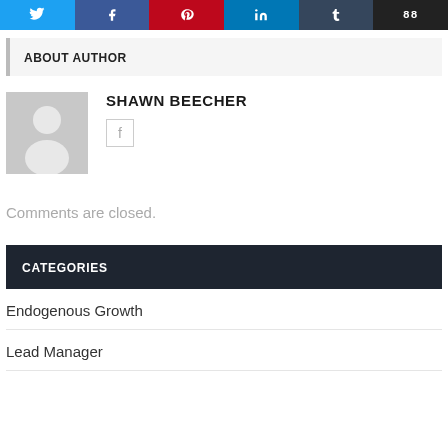[Figure (infographic): Social share buttons bar: Twitter, Facebook, Pinterest, LinkedIn, Tumblr, Email]
ABOUT AUTHOR
[Figure (photo): Default avatar silhouette of a person on gray background]
SHAWN BEECHER
Comments are closed.
CATEGORIES
Endogenous Growth
Lead Manager